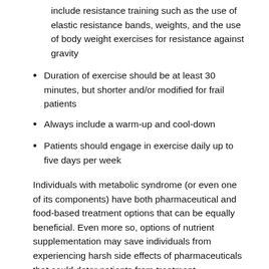include resistance training such as the use of elastic resistance bands, weights, and the use of body weight exercises for resistance against gravity
Duration of exercise should be at least 30 minutes, but shorter and/or modified for frail patients
Always include a warm-up and cool-down
Patients should engage in exercise daily up to five days per week
Individuals with metabolic syndrome (or even one of its components) have both pharmaceutical and food-based treatment options that can be equally beneficial. Even more so, options of nutrient supplementation may save individuals from experiencing harsh side effects of pharmaceuticals that could deter patients from treatment.
References: